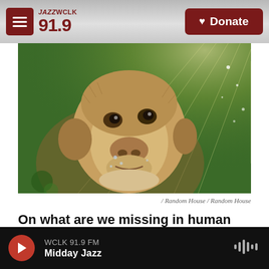JAZZ WCLK 91.9 | Donate
[Figure (photo): Close-up photo of a monkey looking upward against a green background with light rays]
/ Random House / Random House
On what are we missing in human vision compared to insects
WCLK 91.9 FM | Midday Jazz